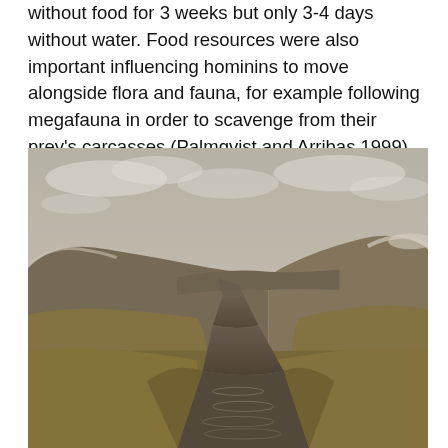without food for 3 weeks but only 3-4 days without water. Food resources were also important influencing hominins to move alongside flora and fauna, for example following megafauna in order to scavenge from their prey's carcasses (Palmqvist and Arribas 1999).
[Figure (photo): Landscape photograph showing a winding stream or small river cutting through a flat, grassy moorland or tundra landscape. Rolling hills with patches of snow are visible in the background under a cloudy sky. The vegetation is dry and golden-brown. The image has a warm sepia-toned quality.]